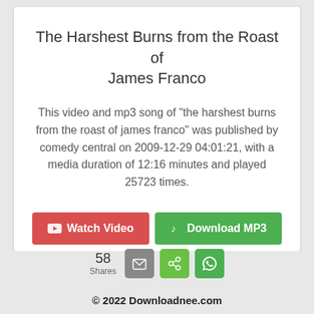The Harshest Burns from the Roast of James Franco
This video and mp3 song of "the harshest burns from the roast of james franco" was published by comedy central on 2009-12-29 04:01:21, with a media duration of 12:16 minutes and played 25723 times.
Watch Video | Download MP3 | Download MP4
58 Shares
© 2022 Downloadnee.com